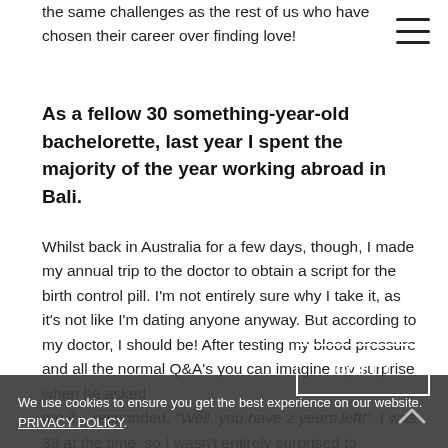the same challenges as the rest of us who have chosen their career over finding love!
As a fellow 30 something-year-old bachelorette, last year I spent the majority of the year working abroad in Bali.
Whilst back in Australia for a few days, though, I made my annual trip to the doctor to obtain a script for the birth control pill. I'm not entirely sure why I take it, as it's not like I'm dating anyone anyway. But according to my doctor, I should be! After testing my blood pressure and all the normal Q&A's you can imagine my surprise when he asked me if... responded, "Well, you have 2 years left!". I was 33 at the time, so I wasn't entirely surprised to receive this information. But I was a little taken aback!
We use cookies to ensure you get the best experience on our website. PRIVACY POLICY.